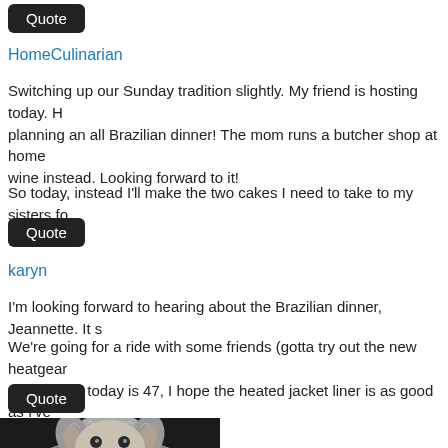Quote (button)
HomeCulinarian
Switching up our Sunday tradition slightly. My friend is hosting today. H... planning an all Brazilian dinner! The mom runs a butcher shop at home... wine instead. Looking forward to it!
So today, instead I'll make the two cakes I need to take to my sisters fo...
Quote (button)
karyn
I'm looking forward to hearing about the Brazilian dinner, Jeannette. It s...
We're going for a ride with some friends (gotta try out the new heatgear... the high for today is 47, I hope the heated jacket liner is as good as I've...
Quote (button)
[Figure (photo): Photo of a fluffy dog, grey and white, looking at camera]